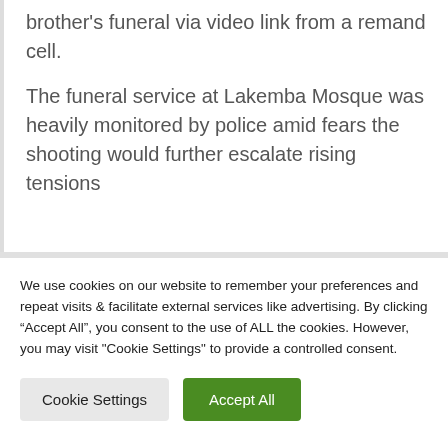brother's funeral via video link from a remand cell.
The funeral service at Lakemba Mosque was heavily monitored by police amid fears the shooting would further escalate rising tensions
We use cookies on our website to remember your preferences and repeat visits & facilitate external services like advertising. By clicking “Accept All”, you consent to the use of ALL the cookies. However, you may visit "Cookie Settings" to provide a controlled consent.